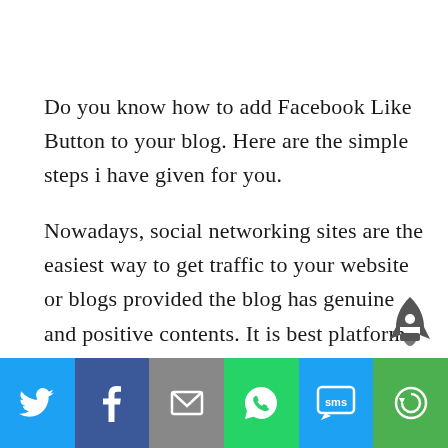Do you know how to add Facebook Like Button to your blog. Here are the simple steps i have given for you.
Nowadays, social networking sites are the easiest way to get traffic to your website or blogs provided the blog has genuine and positive contents. It is best platform to attract more people to your blog thus making it successful.
[Figure (infographic): Social sharing bar with icons for Twitter, Facebook, Email, WhatsApp, SMS, and More]